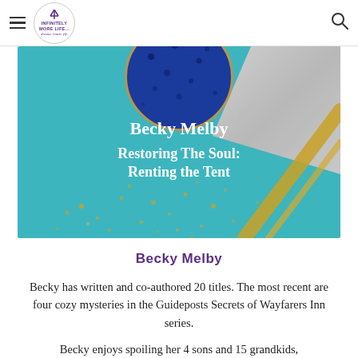INFINITELY MORE LIFE... dream. learn. fly.
[Figure (illustration): Banner image with teal background, blue circle with dark dots at top center, gray textured triangle in upper right, gold speckle brushstroke details, white bold text reading 'Becky Melby' and 'Restoring The Soul: Renting the Tent']
Becky Melby
Becky has written and co-authored 20 titles. The most recent are four cozy mysteries in the Guideposts Secrets of Wayfarers Inn series.
Becky enjoys spoiling her 4 sons and 15 grandkids,